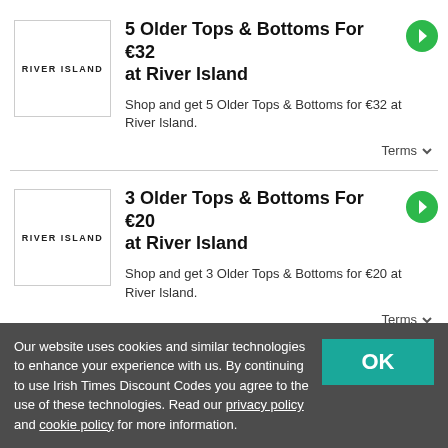[Figure (logo): River Island logo in a bordered box]
5 Older Tops & Bottoms For €32 at River Island
Shop and get 5 Older Tops & Bottoms for €32 at River Island.
Terms
[Figure (logo): River Island logo in a bordered box]
3 Older Tops & Bottoms For €20 at River Island
Shop and get 3 Older Tops & Bottoms for €20 at River Island.
Terms
Our website uses cookies and similar technologies to enhance your experience with us. By continuing to use Irish Times Discount Codes you agree to the use of these technologies. Read our privacy policy and cookie policy for more information.